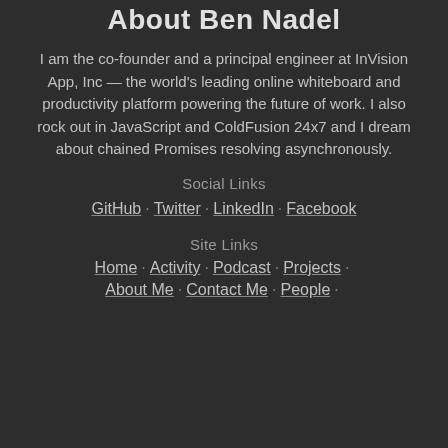About Ben Nadel
I am the co-founder and a principal engineer at InVision App, Inc — the world's leading online whiteboard and productivity platform powering the future of work. I also rock out in JavaScript and ColdFusion 24x7 and I dream about chained Promises resolving asynchronously.
Social Links
GitHub · Twitter · LinkedIn · Facebook
Site Links
Home · Activity · Podcast · Projects · About Me · Contact Me · People ·